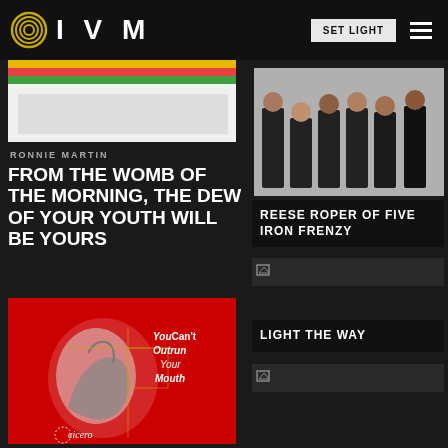IVM — SET LIGHT
[Figure (photo): Top partial thumbnail image on left column]
RONNIE MARTIN
FROM THE WOMB OF THE MORNING, THE DEW OF YOUR YOUTH WILL BE YOURS
[Figure (photo): Album cover for Cicero - You Can't Outrun Your Mouth, red background with crouching figure]
[Figure (photo): Band photo of Reese Roper of Five Iron Frenzy - group of people in black shirts]
REESE ROPER OF FIVE IRON FRENZY
[Figure (photo): Small thumbnail image placeholder]
LIGHT THE WAY
[Figure (photo): Small thumbnail image placeholder]